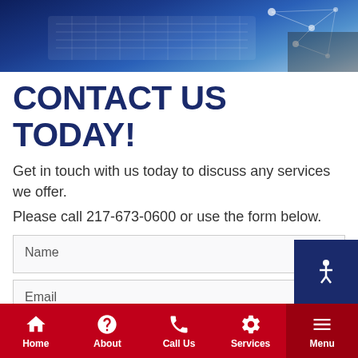[Figure (photo): Hero banner image showing a laptop with network/technology overlay in blue tones, with a person's hand visible]
CONTACT US TODAY!
Get in touch with us today to discuss any services we offer.
Please call 217-673-0600 or use the form below.
Name
Email
Subject
Home  About  Call Us  Services  Menu